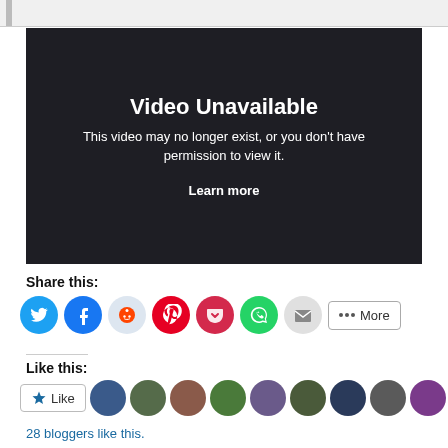[Figure (screenshot): Video Unavailable placeholder — dark background with text: 'Video Unavailable', 'This video may no longer exist, or you don't have permission to view it.', 'Learn more']
Share this:
[Figure (infographic): Row of social share icon buttons: Twitter, Facebook, Reddit, Pinterest, Pocket, WhatsApp, Email, and a More button]
Like this:
Like
28 bloggers like this.